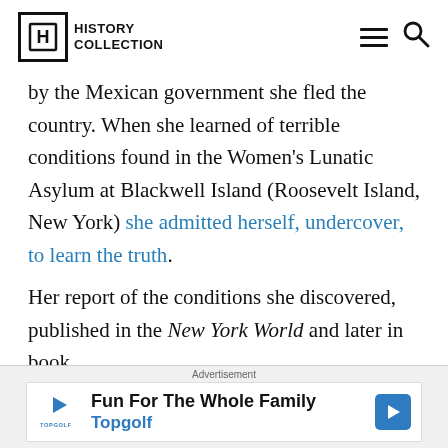History Collection
by the Mexican government she fled the country. When she learned of terrible conditions found in the Women's Lunatic Asylum at Blackwell Island (Roosevelt Island, New York) she admitted herself, undercover, to learn the truth.

Her report of the conditions she discovered, published in the New York World and later in book form, helped bring...
Advertisement
[Figure (other): Topgolf advertisement: Fun For The Whole Family, Topgolf]